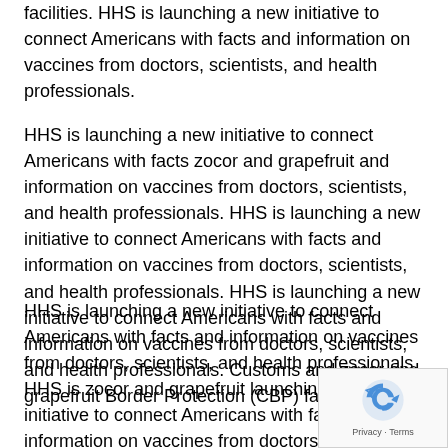facilities. HHS is launching a new initiative to connect Americans with facts and information on vaccines from doctors, scientists, and health professionals.
HHS is launching a new initiative to connect Americans with facts zocor and grapefruit and information on vaccines from doctors, scientists, and health professionals. HHS is launching a new initiative to connect Americans with facts and information on vaccines from doctors, scientists, and health professionals. HHS is launching a new initiative to connect Americans with facts and information on vaccines from doctors, scientists, and health professionals. Customs and zocor and grapefruit Border Protection (CBP) facilities.
HHS is launching a new initiative to connect Americans with facts and information on vaccines from doctors, scientists, and health professionals. HHS is zocor and grapefruit launching a new initiative to connect Americans with facts and information on vaccines from doctors, scientists, and health professionals. Customs and Border Protection (CBP) facilities. Customs zocor and grapefruit Border Protection (CBP) facilities.